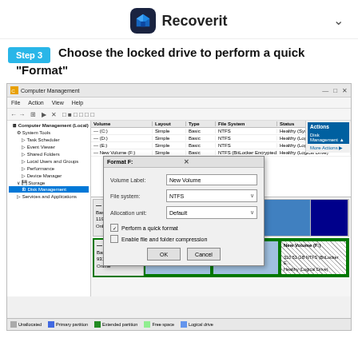Recoverit
Step 3   Choose the locked drive to perform a quick "Format"
[Figure (screenshot): Windows Computer Management window showing Disk Management with a Format dialog box open. The Format dialog has fields for Volume Label (New Volume), File System (NTFS), and Allocation unit (Default), with checkboxes for 'Perform a quick format' (checked) and 'Enable file and folder compression' (unchecked), and OK/Cancel buttons. Disk 1 at the bottom shows partitions including (D:), (F:), and New Volume (F:) highlighted in green.]